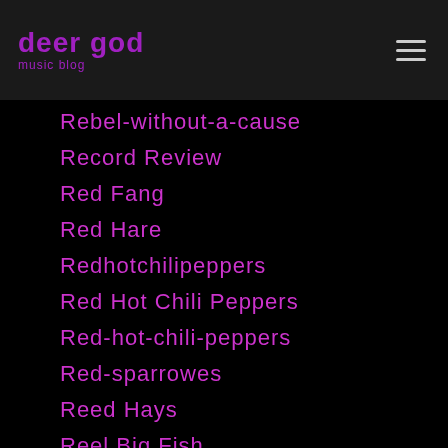deer god
Rebel-without-a-cause
Record Review
Red Fang
Red Hare
Redhotchilipeppers
Red Hot Chili Peppers
Red-hot-chili-peppers
Red-sparrowes
Reed Hays
Reel Big Fish
Refused
Reggae
Regina-spektor
Relaxer
Religion
R.E.M.
Renaissance